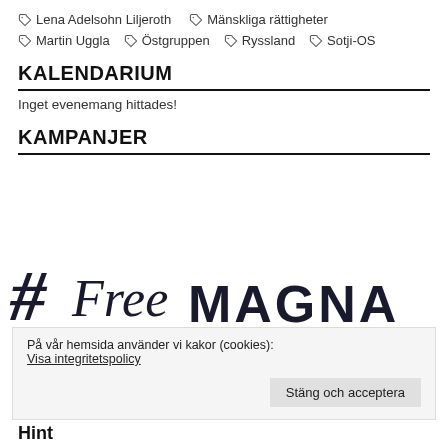Lena Adelsohn Liljeroth
Mänskliga rättigheter
Martin Uggla
Östgruppen
Ryssland
Sotji-OS
KALENDARIUM
Inget evenemang hittades!
KAMPANJER
[Figure (illustration): #FreeMagna campaign image with hashtag and stylized text]
På vår hemsida använder vi kakor (cookies): Visa integritetspolicy
Stäng och acceptera